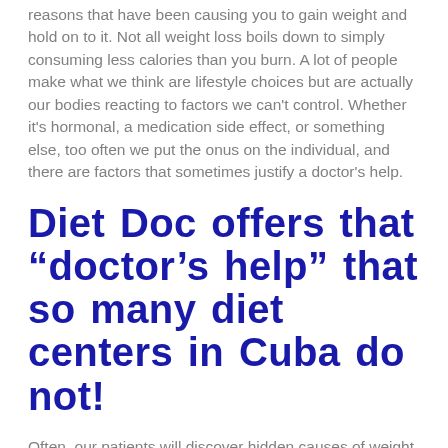reasons that have been causing you to gain weight and hold on to it. Not all weight loss boils down to simply consuming less calories than you burn. A lot of people make what we think are lifestyle choices but are actually our bodies reacting to factors we can't control. Whether it's hormonal, a medication side effect, or something else, too often we put the onus on the individual, and there are factors that sometimes justify a doctor's help.
Diet Doc offers that “doctor’s help” that so many diet centers in Cuba do not!
Often, our patients will discover hidden causes of weight gain they never considered. With a medical